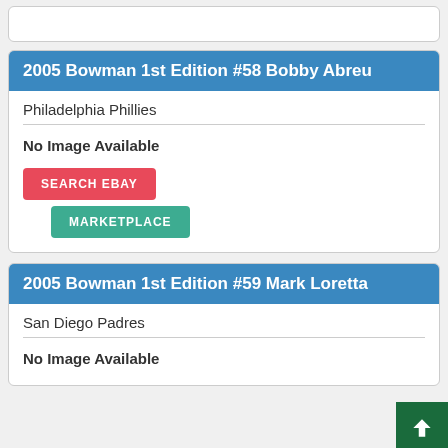2005 Bowman 1st Edition #58 Bobby Abreu
Philadelphia Phillies
No Image Available
SEARCH EBAY
MARKETPLACE
2005 Bowman 1st Edition #59 Mark Loretta
San Diego Padres
No Image Available